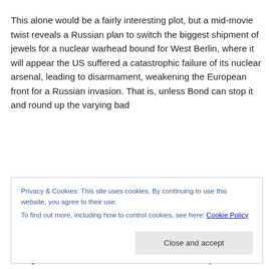This alone would be a fairly interesting plot, but a mid-movie twist reveals a Russian plan to switch the biggest shipment of jewels for a nuclear warhead bound for West Berlin, where it will appear the US suffered a catastrophic failure of its nuclear arsenal, leading to disarmament, weakening the European front for a Russian invasion. That is, unless Bond can stop it and round up the varying bad
Privacy & Cookies: This site uses cookies. By continuing to use this website, you agree to their use.
To find out more, including how to control cookies, see here: Cookie Policy
ambiguous motivations. It reflects more accurately than